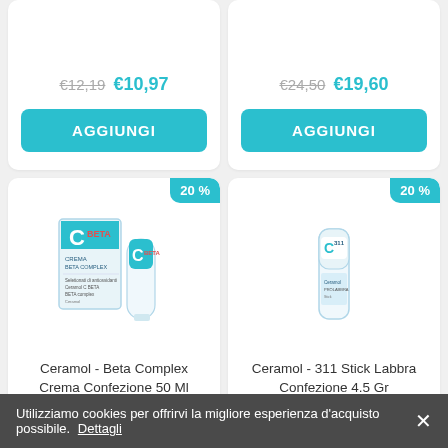€12,19  €10,97
€24,50  €19,60
AGGIUNGI
AGGIUNGI
[Figure (photo): Ceramol Beta Complex Crema product package and tube with Ceramol C BETA branding]
20 %
[Figure (photo): Ceramol 311 Stick Labbra lip balm stick product]
20 %
Ceramol - Beta Complex Crema Confezione 50 Ml
Ceramol - 311 Stick Labbra Confezione 4.5 Gr
Utilizziamo cookies per offrirvi la migliore esperienza d'acquisto possibile. Dettagli